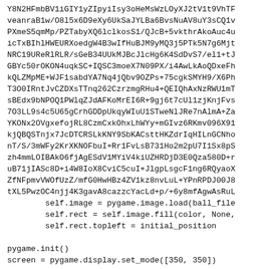Y8N2HFmbBV1iGIY1yZIpyiIsy3oHeMsWzLOyXJ2tV1t9VhTF
veanraB1w/O8l5x6D9eXy6UkSaJYLBa6BvsNuAV8uY3sCQ1v
PXmeS5qmMp/PZTabyXQ6lclkosS1/QJcB+5vkthrAkoAuc4u
icTxBIhlHWEURXoedgW4B3wIfHuBJM9yMQ3j5PTk5N7g6Mjt
NRC19UReRlRLR/sGeB34UUkMJBcJlcHg6K4SdDvS7/el1+tJ
GBYc50rOKON4uqkSC+IQSC3moeX7N09PX/i4AwLkAoQDxeFh
kQLZMpME+WJF1sabdYA7Nq4jQbv9OZPs+75cgkSMYH9/X6Ph
T3O0IRntJvCZDXsTTnq262CzrzmgRHu4+QEIQhAxNzRWU1mT
sBEdx9bNPOQ1PWlqZJdAFKoMrEI6R+9gj6t7cUl1zjKnjFvs
7O3LL9s4c5U65gCrhGDDpUkqyWIuU1STweNlJRe7nAlmA+Za
YKONx2OVgxefojRL8CzmCxkOhxLhWYy+mGIvz6RKmv096X91
kjQBQSTnjx7JcDTCRSLkKNY9SbKACsttHKZdrIqHILnGCNho
nT/S/3mWFy2KrXKNOFbuI+Rr1FvLsB731Ho2m2pU7I1Sx8pS
zh4mmLOIBAkO6fjAgESdV1MYiV4kiUZHRDjD3E0Qza580D+r
uB71jIASc8D+i4W8IoX8CviC5cuI+JlgpLsgcF1ng6RQyaoX
ZfNFpmvVWOfUzZ/mfG0HwHBz4ZV1kz8nvLuL+YPnRPDJ00J8
tXL5PwzOC4njj4K3gavA8cazzcYacLd+p/+6y8mfAgwAsRuL
self.image = pygame.image.load(ball_file
        self.rect = self.image.fill(color, None,
        self.rect.topleft = initial_position
pygame.init()
screen = pygame.display.set_mode([350, 350])

ball = Ball((255, 0, 0), (100, 100))